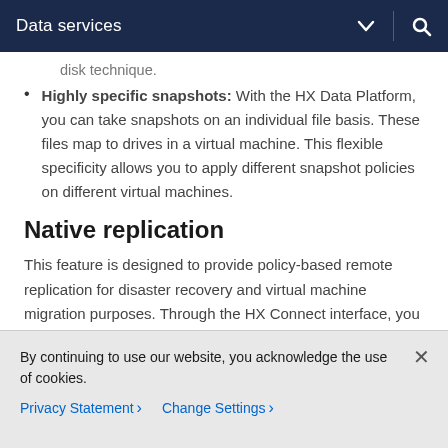Data services
disk technique.
Highly specific snapshots: With the HX Data Platform, you can take snapshots on an individual file basis. These files map to drives in a virtual machine. This flexible specificity allows you to apply different snapshot policies on different virtual machines.
Native replication
This feature is designed to provide policy-based remote replication for disaster recovery and virtual machine migration purposes. Through the HX Connect interface, you
By continuing to use our website, you acknowledge the use of cookies.
Privacy Statement > Change Settings >